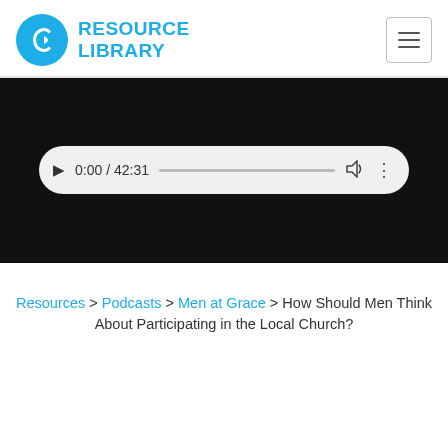RESOURCE LIBRARY
[Figure (screenshot): Audio player widget showing 0:00 / 42:31 with play button, progress bar, volume icon, and more options icon on a dark background]
Resources > Podcasts > Men at Grace > How Should Men Think About Participating in the Local Church?